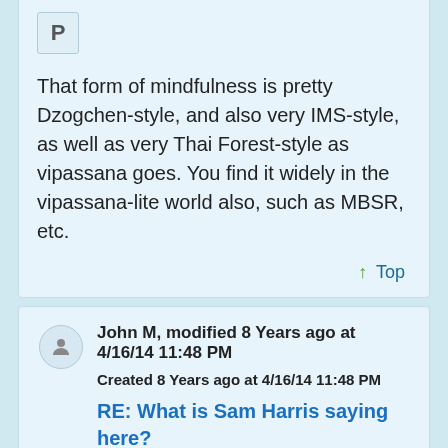[Figure (other): Avatar letter P box for first post]
That form of mindfulness is pretty Dzogchen-style, and also very IMS-style, as well as very Thai Forest-style as vipassana goes. You find it widely in the vipassana-lite world also, such as MBSR, etc.
↑ Top
[Figure (other): User avatar icon (silhouette) for John M]
John M, modified 8 Years ago at 4/16/14 11:48 PM
Created 8 Years ago at 4/16/14 11:48 PM
RE: What is Sam Harris saying here?